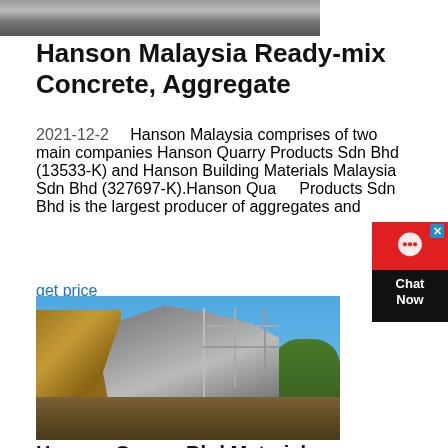[Figure (photo): Top partial image of dark industrial equipment or machinery, cropped at top of page]
Hanson Malaysia Ready-mix Concrete, Aggregate
2021-12-2   Hanson Malaysia comprises of two main companies Hanson Quarry Products Sdn Bhd (13533-K) and Hanson Building Materials Malaysia Sdn Bhd (327697-K).Hanson Quarry Products Sdn Bhd is the largest producer of aggregates and
get price
[Figure (photo): Industrial quarry plant or aggregate processing facility with stone wall on left, metal processing structure in center, blue sky background]
Hanson Quarry Bhd Material...